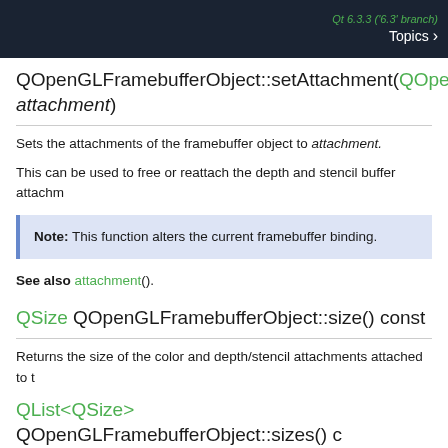Qt 6.3.3 ('6.3' branch) Topics >
QOpenGLFramebufferObject::setAttachment(QOpenGLFramebufferObject::Attachment attachment)
Sets the attachments of the framebuffer object to attachment.
This can be used to free or reattach the depth and stencil buffer attachm...
Note: This function alters the current framebuffer binding.
See also attachment().
QSize QOpenGLFramebufferObject::size() const
Returns the size of the color and depth/stencil attachments attached to t...
QList<QSize> QOpenGLFramebufferObject::sizes() c...